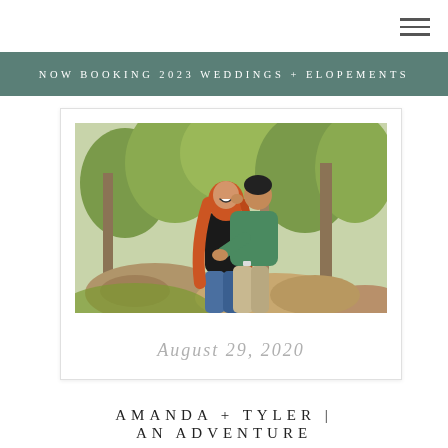[Figure (other): Hamburger/navigation menu icon with three horizontal lines in top right corner]
NOW BOOKING 2023 WEDDINGS + ELOPEMENTS
[Figure (photo): Outdoor engagement photo of a couple in a forest/woodland setting. A woman with long red hair wearing a black top and jeans is laughing while a man in a green shirt kisses her cheek and holds her waist. They are standing near rocks and trees with lush green foliage in the background.]
August 29, 2020
AMANDA + TYLER | AN ADVENTURE